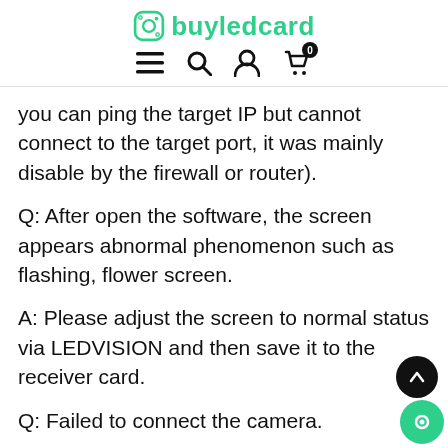buyledcard
you can ping the target IP but cannot connect to the target port, it was mainly disable by the firewall or router).
Q: After open the software, the screen appears abnormal phenomenon such as flashing, flower screen.
A: Please adjust the screen to normal status via LEDVISION and then save it to the receiver card.
Q: Failed to connect the camera.
A: 1. Confirm that the camera model is